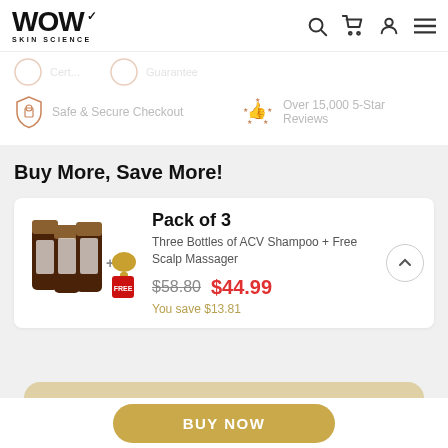[Figure (logo): WOW Skin Science logo with checkmark]
Safe & Secure Checkout
Over 15,000 5-Star Reviews
Buy More, Save More!
Pack of 3
Three Bottles of ACV Shampoo + Free Scalp Massager
$58.80  $44.99
You save $13.81
BUY NOW